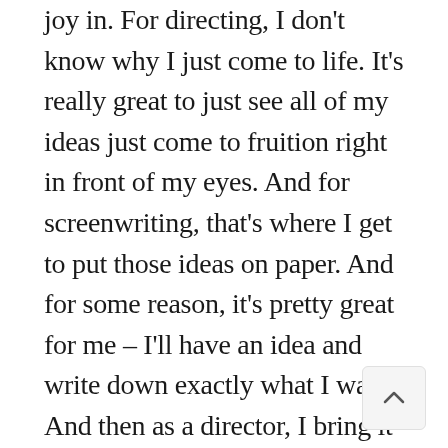joy in. For directing, I don't know why I just come to life. It's really great to just see all of my ideas just come to fruition right in front of my eyes. And for screenwriting, that's where I get to put those ideas on paper. And for some reason, it's pretty great for me – I'll have an idea and write down exactly what I want. And then as a director, I bring it to life. And it's something I'm very, very really passionate about.